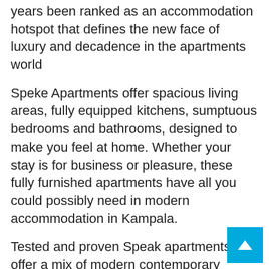years been ranked as an accommodation hotspot that defines the new face of luxury and decadence in the apartments world
Speke Apartments offer spacious living areas, fully equipped kitchens, sumptuous bedrooms and bathrooms, designed to make you feel at home. Whether your stay is for business or pleasure, these fully furnished apartments have all you could possibly need in modern accommodation in Kampala.
Tested and proven Speak apartments offer a mix of modern contemporary surroundings and a relaxing, laid-back environment ensuring that Speke Apartments is the finest choice for both business and pleasure accommodation.
Its range of accommodation suits all guests,